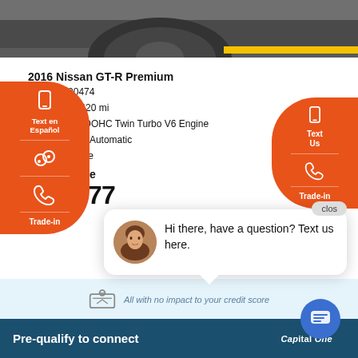[Figure (photo): Close-up photo of car wheel/tire on asphalt with yellow line, partially visible top of page]
2016 Nissan GT-R Premium
Stock: #290474
Mileage: 29,420 mi
Engine: 3.8L DOHC Twin Turbo V6 Engine
Transmission: Automatic
All Wheel Drive
Asking Price
$92,977
All with no impact to your credit score
Pre-qualify to connect
[Figure (screenshot): Chat bubble overlay with avatar photo of woman and text 'Hi there, have a question? Text us here.']